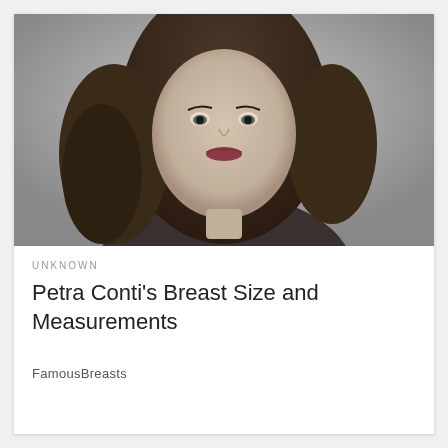[Figure (photo): Portrait photo of a woman with long dark curly hair, fair skin, dark eyes and dark lips, facing the camera against a grey background.]
UNKNOWN
Petra Conti's Breast Size and Measurements
FamousBreasts